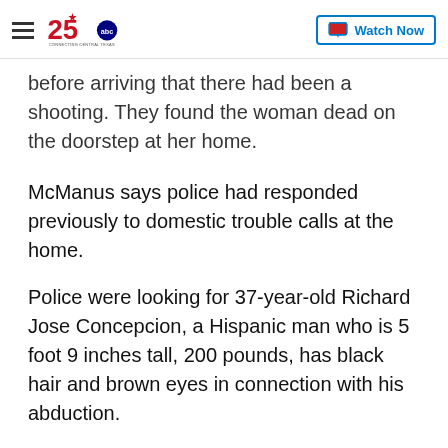KXXV 25 ABC — Connecting Central Texas | Watch Now
before arriving that there had been a shooting. They found the woman dead on the doorstep at her home.
McManus says police had responded previously to domestic trouble calls at the home.
Police were looking for 37-year-old Richard Jose Concepcion, a Hispanic man who is 5 foot 9 inches tall, 200 pounds, has black hair and brown eyes in connection with his abduction.
The suspect is driving a white, 2016, Toyota Tundra, with a Texas, license plate number of GH58MH.